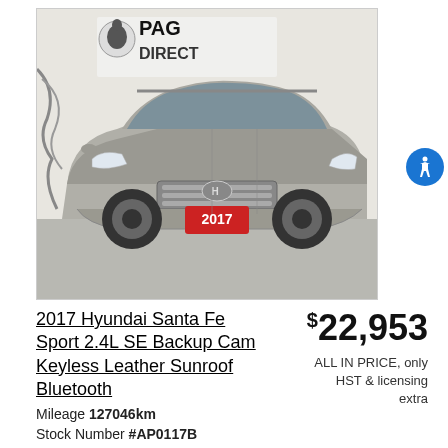[Figure (photo): 2017 Hyundai Santa Fe Sport SUV in silver/gray color parked in a dealership showroom. A PAG DIRECT logo/banner is visible in the background. The vehicle has a red 2017 license plate visible on the front.]
2017 Hyundai Santa Fe Sport 2.4L SE Backup Cam Keyless Leather Sunroof Bluetooth
Mileage 127046km
Stock Number #AP0117B
$22,953 ALL IN PRICE, only HST & licensing extra